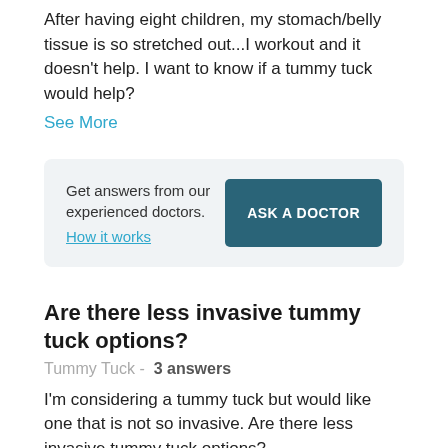After having eight children, my stomach/belly tissue is so stretched out...I workout and it doesn't help. I want to know if a tummy tuck would help?
See More
[Figure (infographic): A light grey rounded card with text 'Get answers from our experienced doctors. How it works' on the left and a dark teal 'ASK A DOCTOR' button on the right.]
Are there less invasive tummy tuck options?
Tummy Tuck -  3 answers
I'm considering a tummy tuck but would like one that is not so invasive. Are there less invasive tummy tuck options?
See More